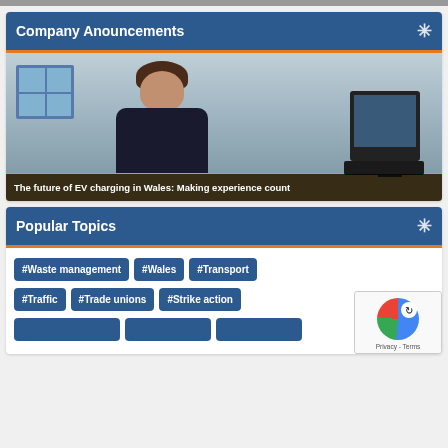Company Anouncements
[Figure (screenshot): Video thumbnail showing a woman in a black outfit sitting at a desk with a computer monitor and keyboard, with a window in the background. Video title overlay reads: The future of EV charging in Wales: Making experience count]
The future of EV charging in Wales: Making experience count
Popular Topics
#Waste management
#Wales
#Transport
#Traffic
#Trade unions
#Strike action